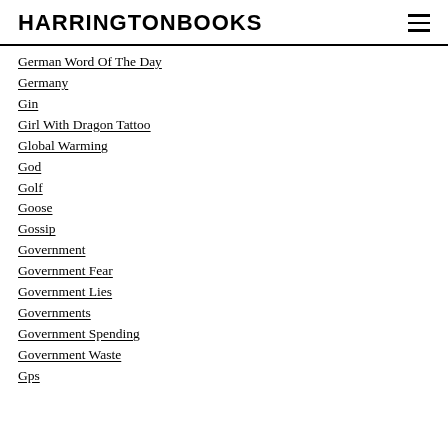HARRINGTONBOOKS
German Word Of The Day
Germany
Gin
Girl With Dragon Tattoo
Global Warming
God
Golf
Goose
Gossip
Government
Government Fear
Government Lies
Governments
Government Spending
Government Waste
Gps